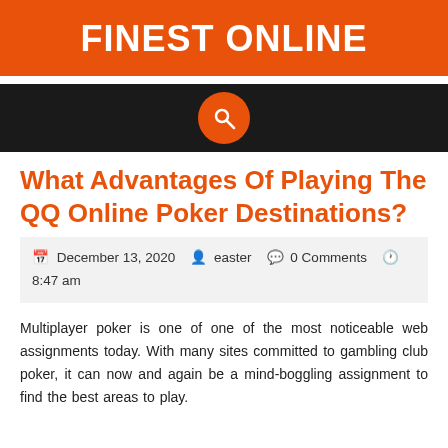FINEST ONLINE
[Figure (other): Dark navigation bar with orange circular search icon button in the center]
What Advantages Of Playing The QQ Online Poker Destinations?
December 13, 2020   easter   0 Comments   8:47 am
Multiplayer poker is one of one of the most noticeable web assignments today. With many sites committed to gambling club poker, it can now and again be a mind-boggling assignment to find the best areas to play.